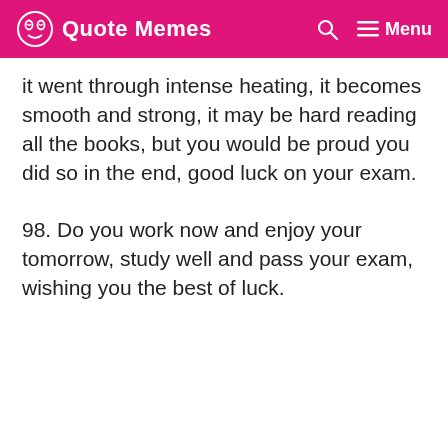Quote Memes  Menu
it went through intense heating, it becomes smooth and strong, it may be hard reading all the books, but you would be proud you did so in the end, good luck on your exam.
98. Do you work now and enjoy your tomorrow, study well and pass your exam, wishing you the best of luck.